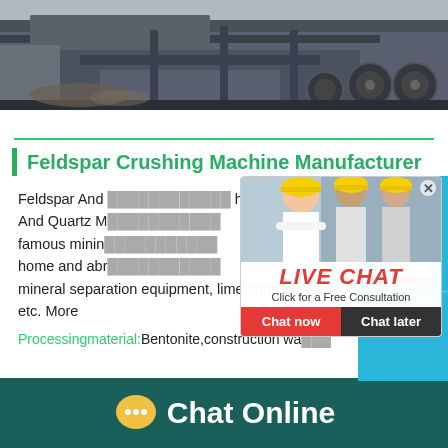[Figure (photo): Industrial machinery - heavy crushing equipment with steel frame and large wheels, viewed from side/below]
Feldspar Crushing Machine Manufacturer
Feldspar And ... hour online And Quartz M... famous minin... home and abr... mineral separation equipment, limestone grin... etc. More
[Figure (screenshot): Live chat popup overlay with workers in hard hats, LIVE CHAT title in red italic, Click for a Free Consultation subtitle, Chat now and Chat later buttons]
[Figure (screenshot): Right side blue chat widget showing cone crusher machine image and Click me to chat>> button]
Processingmaterial:Bentonite,construction wa...
[Figure (illustration): Dark teal bottom bar with yellow speech bubble icon and Chat Online text in white]